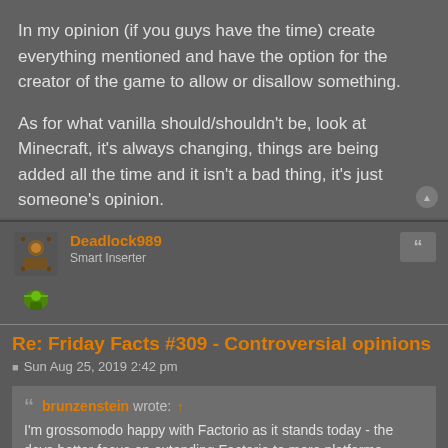In my opinion (if you guys have the time) create everything mentioned and have the option for the creator of the game to allow or disallow something.
As for what vanilla should/shouldn't be, look at Minecraft, it's always changing, things are being added all the time and it isn't a bad thing, it's just someone's opinion.
Deadlock989
Smart Inserter
Re: Friday Facts #309 - Controversial opinions
Sun Aug 25, 2019 2:42 pm
brunzenstein wrote: I'm grossomodo happy with Factorio as it stands today - the devs better focus on extending Factorio to more platforms and/or consider a 3D version - similar to Satisfactory